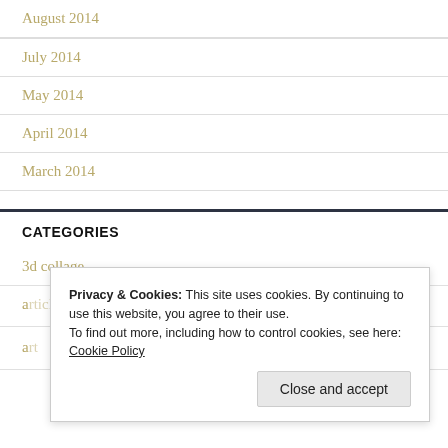August 2014
July 2014
May 2014
April 2014
March 2014
CATEGORIES
3d collage
Privacy & Cookies: This site uses cookies. By continuing to use this website, you agree to their use.
To find out more, including how to control cookies, see here: Cookie Policy
Close and accept